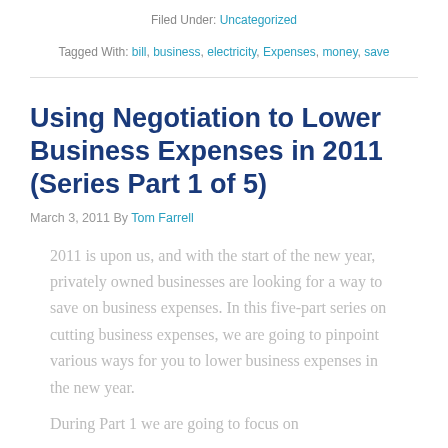Filed Under: Uncategorized
Tagged With: bill, business, electricity, Expenses, money, save
Using Negotiation to Lower Business Expenses in 2011 (Series Part 1 of 5)
March 3, 2011 By Tom Farrell
2011 is upon us, and with the start of the new year, privately owned businesses are looking for a way to save on business expenses. In this five-part series on cutting business expenses, we are going to pinpoint various ways for you to lower business expenses in the new year.
During Part 1 we are going to focus on